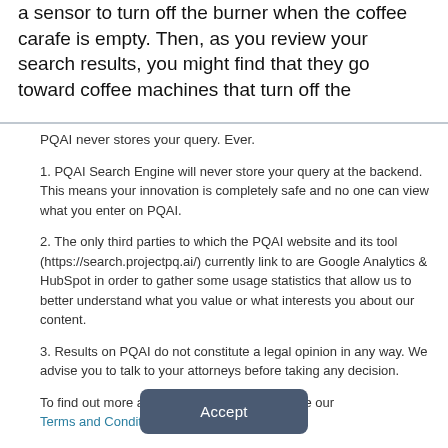a sensor to turn off the burner when the coffee carafe is empty. Then, as you review your search results, you might find that they go toward coffee machines that turn off the
PQAI never stores your query. Ever.
1. PQAI Search Engine will never store your query at the backend. This means your innovation is completely safe and no one can view what you enter on PQAI.
2. The only third parties to which the PQAI website and its tool (https://search.projectpq.ai/) currently link to are Google Analytics & HubSpot in order to gather some usage statistics that allow us to better understand what you value or what interests you about our content.
3. Results on PQAI do not constitute a legal opinion in any way. We advise you to talk to your attorneys before taking any decision.
To find out more about the cookies we use, see our Terms and Conditions.